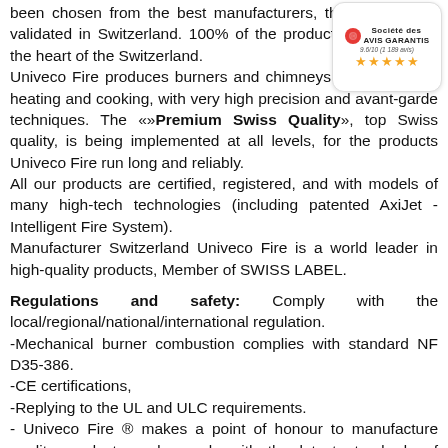been chosen from the best manufacturers, then tested and validated in Switzerland. 100% of the production is made in the heart of the Switzerland.
Univeco Fire produces burners and chimneys for decoration, heating and cooking, with very high precision and avant-garde techniques. The «»Premium Swiss Quality», top Swiss quality, is being implemented at all levels, for the products Univeco Fire run long and reliably.
All our products are certified, registered, and with models of many high-tech technologies (including patented AxiJet - Intelligent Fire System).
Manufacturer Switzerland Univeco Fire is a world leader in high-quality products, Member of SWISS LABEL.
[Figure (other): Société des AVIS GARANTIS badge showing 9.6/10 rating with 5 stars and note (1 189 avis)]
Regulations and safety: Comply with the local/regional/national/international regulation.
-Mechanical burner combustion complies with standard NF D35-386.
-CE certifications,
-Replying to the UL and ULC requirements.
- Univeco Fire ® makes a point of honour to manufacture quality products and comply with the latest standards of safety. As such, Univeco Fire ® belongs to various professional associations that